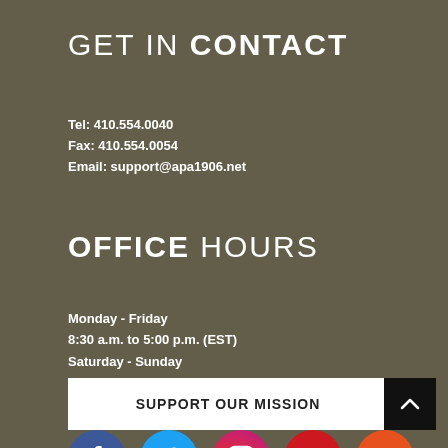GET IN CONTACT
Tel: 410.554.0040
Fax: 410.554.0054
Email: support@apa1906.net
OFFICE HOURS
Monday - Friday
8:30 a.m. to 5:00 p.m. (EST)
Saturday - Sunday
Closed
[Figure (infographic): Row of 5 social media icons: Facebook (blue circle), Twitter (light blue circle), Instagram (gradient circle), YouTube (red circle), SoundCloud (orange circle)]
SUPPORT OUR MISSION